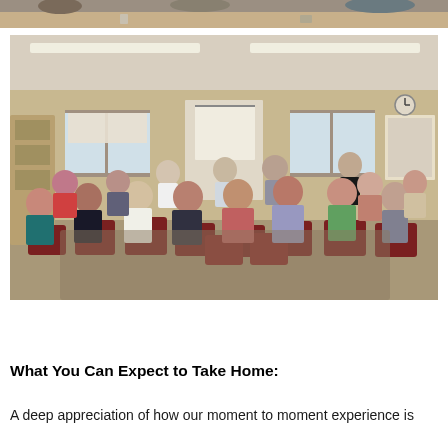[Figure (photo): Partial top strip of a group photo showing people gathered around a table]
[Figure (photo): Group of approximately 20 people seated in a circle of maroon/dark red chairs in a meeting room with beige walls, fluorescent lighting, and windows. A whiteboard is visible in the background.]
What You Can Expect to Take Home:
A deep appreciation of how our moment to moment experience is